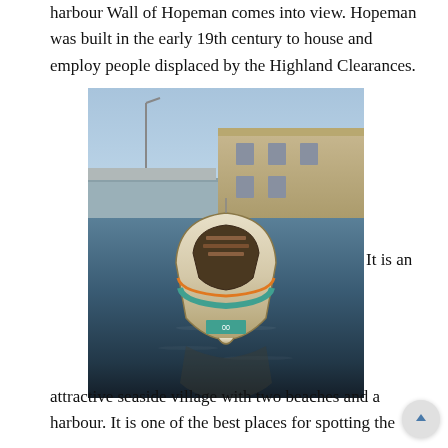harbour Wall of Hopeman comes into view. Hopeman was built in the early 19th century to house and employ people displaced by the Highland Clearances.
[Figure (photo): A colourful wooden rowing boat moored in Hopeman harbour, viewed head-on from the water. A stone harbour wall runs along the right side and stone buildings are visible in the background under a blue sky. The boat's reflection is visible in the dark water below.]
It is an attractive seaside village with two beaches and a harbour. It is one of the best places for spotting the
attractive seaside village with two beaches and a harbour. It is one of the best places for spotting the